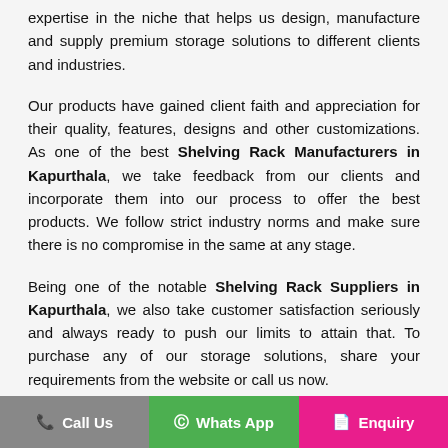expertise in the niche that helps us design, manufacture and supply premium storage solutions to different clients and industries.
Our products have gained client faith and appreciation for their quality, features, designs and other customizations. As one of the best Shelving Rack Manufacturers in Kapurthala, we take feedback from our clients and incorporate them into our process to offer the best products. We follow strict industry norms and make sure there is no compromise in the same at any stage.
Being one of the notable Shelving Rack Suppliers in Kapurthala, we also take customer satisfaction seriously and always ready to push our limits to attain that. To purchase any of our storage solutions, share your requirements from the website or call us now.
Leading As The Best Shelving Ra...
Call Us | Whats App | Enquiry